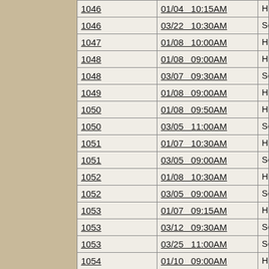| Bill | Date/Time | Chamber/Committee |
| --- | --- | --- |
| 1046 | 01/04  10:15AM | House  Government and V… |
| 1046 | 03/22  10:30AM | Senate  Government and V… |
| 1047 | 01/08  10:00AM | House  Finance and Taxati… |
| 1048 | 01/08  09:00AM | House  Industry, Business … |
| 1048 | 03/07  09:30AM | Senate  Government and V… |
| 1049 | 01/08  09:00AM | House  Industry, Business … |
| 1050 | 01/08  09:50AM | House  Judiciary |
| 1050 | 03/05  11:00AM | Senate  Judiciary |
| 1051 | 01/07  10:30AM | House  Judiciary |
| 1051 | 03/05  09:00AM | Senate  Judiciary |
| 1052 | 01/08  10:30AM | House  Education |
| 1052 | 03/05  09:00AM | Senate  Education |
| 1053 | 01/07  09:15AM | House  Finance and Taxati… |
| 1053 | 03/12  09:30AM | Senate  Finance and Taxat… |
| 1053 | 03/25  11:00AM | Senate  Appropriations |
| 1054 | 01/10  09:00AM | House  Government and V… |
| 1054 | 03/21  09:30AM | Senate  Government and V… |
| 1055 | 01/04  09:30AM | House  Transportation |
| 1055 | 03/08  10:30AM | Senate  Transportation |